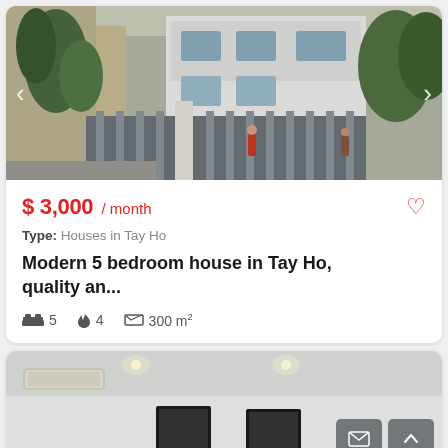[Figure (photo): Exterior photo of a modern white multi-storey house in Tay Ho with iron gate fencing, surrounded by trees and a narrow alley. Navigation arrows on left and right sides.]
$ 3,000 / month
Type: Houses in Tay Ho
Modern 5 bedroom house in Tay Ho, quality an...
5  4  300 m²
[Figure (photo): Interior photo of a bright white modern room with recessed ceiling lights, a wall-mounted air conditioning unit, and framed images on the wall.]